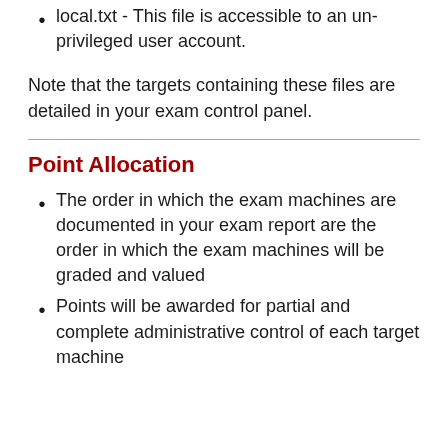local.txt - This file is accessible to an un-privileged user account.
Note that the targets containing these files are detailed in your exam control panel.
Point Allocation
The order in which the exam machines are documented in your exam report are the order in which the exam machines will be graded and valued
Points will be awarded for partial and complete administrative control of each target machine